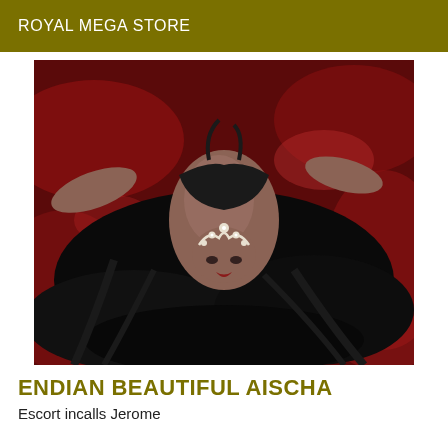ROYAL MEGA STORE
[Figure (photo): A woman with long dark hair wearing a tiara and dark lingerie, lying on red satin fabric, photographed from above]
ENDIAN BEAUTIFUL AISCHA
Escort incalls Jerome